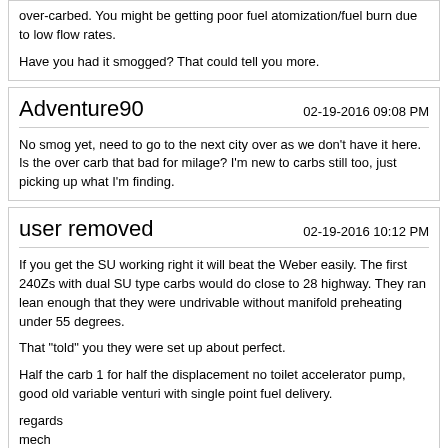over-carbed. You might be getting poor fuel atomization/fuel burn due to low flow rates.

Have you had it smogged? That could tell you more.
Adventure90
02-19-2016 09:08 PM
No smog yet, need to go to the next city over as we don't have it here. Is the over carb that bad for milage? I'm new to carbs still too, just picking up what I'm finding.
user removed
02-19-2016 10:12 PM
If you get the SU working right it will beat the Weber easily. The first 240Zs with dual SU type carbs would do close to 28 highway. They ran lean enough that they were undrivable without manifold preheating under 55 degrees.

That "told" you they were set up about perfect.

Half the carb 1 for half the displacement no toilet accelerator pump, good old variable venturi with single point fuel delivery.

regards
mech